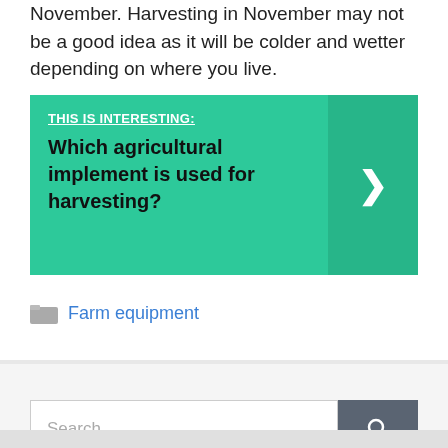November. Harvesting in November may not be a good idea as it will be colder and wetter depending on where you live.
[Figure (infographic): Green banner box with label 'THIS IS INTERESTING:' and question 'Which agricultural implement is used for harvesting?' with a right-arrow chevron button on the right side.]
Farm equipment
Search ...